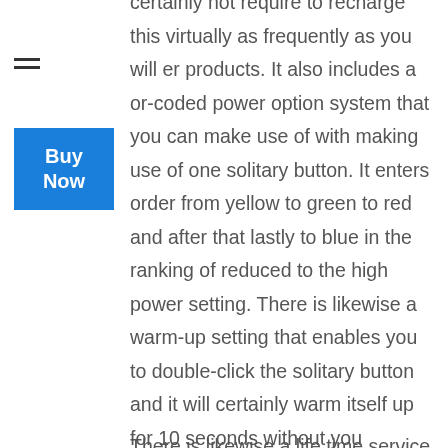[Figure (other): Hamburger menu icon (three horizontal lines)]
certainly not require to recharge this virtually as frequently as you will er products. It also includes a or-coded power option system that you can make use of with making use of one solitary button. It enters order from yellow to green to red and after that lastly to blue in the ranking of reduced to the high power setting. There is likewise a warm-up setting that enables you to double-click the solitary button and it will certainly warm itself up for 10 seconds without you needing to hold the button down. There is likewise a life time service
[Figure (other): Blue Buy Now button]